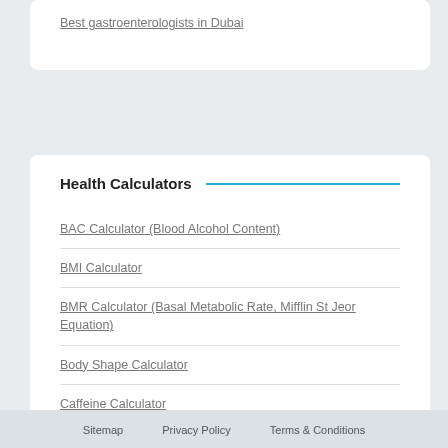Best gastroenterologists in Dubai
Health Calculators
BAC Calculator (Blood Alcohol Content)
BMI Calculator
BMR Calculator (Basal Metabolic Rate, Mifflin St Jeor Equation)
Body Shape Calculator
Caffeine Calculator
Sitemap   Privacy Policy   Terms & Conditions